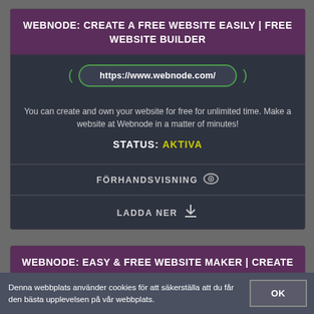WEBNODE: CREATE A FREE WEBSITE EASILY | FREE WEBSITE BUILDER
https://www.webnode.com/
You can create and own your website for free for unlimited time. Make a website at Webnode in a matter of minutes!
STATUS: AKTIVA
FÖRHANDSVISNING
LADDA NER
WEBNODE: EASY & FREE WEBSITE MAKER | CREATE A FREE WEBSITE
Denna webbplats använder cookies för att säkerställa att du får den bästa upplevelsen på vår webbplats.